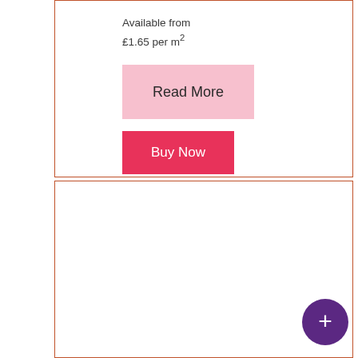Available from
£1.65 per m²
Read More
Buy Now
[Figure (photo): A lush garden border filled with wildflowers including purple asters, tall foxgloves, yellow flowers, and red blooms against a dark green tree background. A stone path is visible at the bottom left. A purple circular plus button overlays the bottom right corner.]